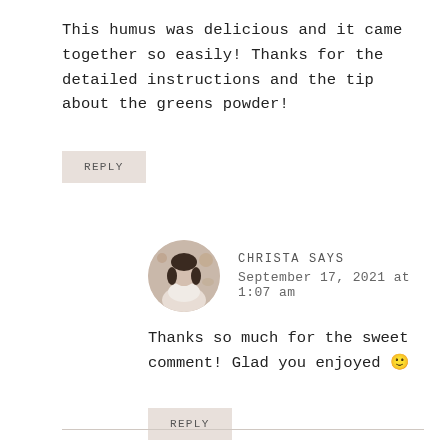This humus was delicious and it came together so easily! Thanks for the detailed instructions and the tip about the greens powder!
REPLY
CHRISTA SAYS
September 17, 2021 at 1:07 am
[Figure (photo): Circular avatar photo of Christa, a woman with dark hair wearing a white top, with decorative background]
Thanks so much for the sweet comment! Glad you enjoyed 🙂
REPLY